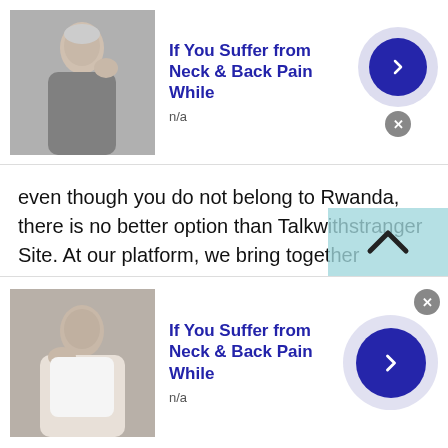[Figure (other): Top advertisement banner: image of older man with neck pain, bold blue title 'If You Suffer from Neck & Back Pain While', 'n/a', blue arrow button, close button]
even though you do not belong to Rwanda, there is no better option than Talkwithstranger Site. At our platform, we bring together thousands of users from all over the world and you have the option of selecting from a diverse range of ethnicities, localities, and societies which enables you to get to know people from anywhere!
It also allows you to get to know other cultures and look at the world from a new perspective. Think of it like travelling, but through a digital platform. Although you don't get to see new destinations every day like you
[Figure (other): Bottom advertisement banner: image of person with neck/shoulder pain, bold blue title 'If You Suffer from Neck & Back Pain While', 'n/a', large blue arrow button, close button]